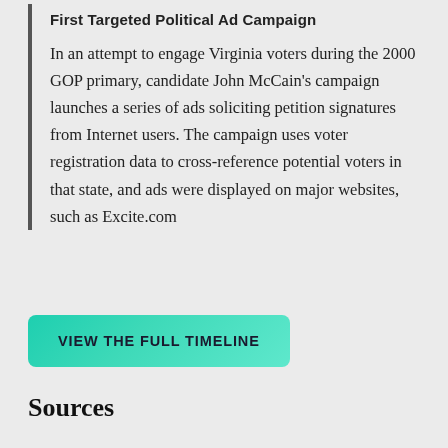First Targeted Political Ad Campaign
In an attempt to engage Virginia voters during the 2000 GOP primary, candidate John McCain's campaign launches a series of ads soliciting petition signatures from Internet users. The campaign uses voter registration data to cross-reference potential voters in that state, and ads were displayed on major websites, such as Excite.com
VIEW THE FULL TIMELINE
Sources